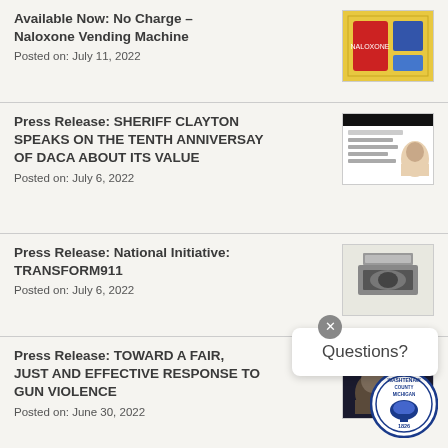Available Now: No Charge – Naloxone Vending Machine
Posted on: July 11, 2022
Press Release: SHERIFF CLAYTON SPEAKS ON THE TENTH ANNIVERSAY OF DACA ABOUT ITS VALUE
Posted on: July 6, 2022
Press Release: National Initiative: TRANSFORM911
Posted on: July 6, 2022
Press Release: TOWARD A FAIR, JUST AND EFFECTIVE RESPONSE TO GUN VIOLENCE
Posted on: June 30, 2022